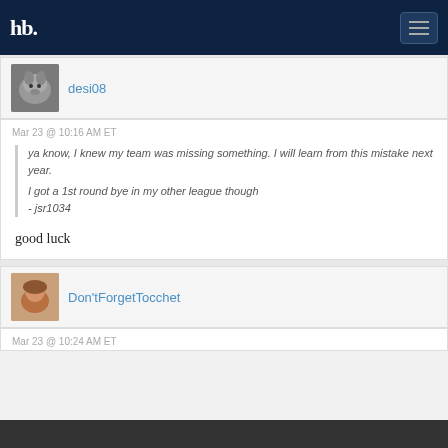hb [hamburger menu]
desi08
Mar 23 @ 10:16 AM ET
ya know, I knew my team was missing something. I will learn from this mistake next year.

I got a 1st round bye in my other league though
- jsr1034
good luck
Don'tForgetTocchet
Mar 23 @ 10:24 AM ET